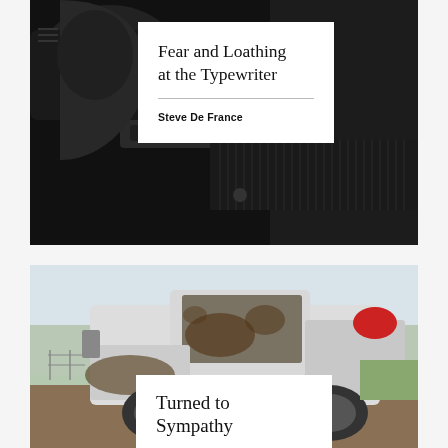[Figure (photo): Close-up dark photo of a gun/firearm with textured grip and barrel details, dark background]
Fear and Loathing at the Typewriter
Steve De France
[Figure (photo): Photo of a muddy pickup truck with dirty windshield, taken from the side, with green fields in background]
Turned to Sympathy